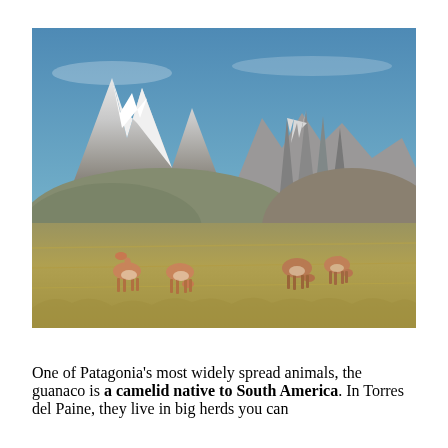[Figure (photo): Guanacos grazing on open grassland in Torres del Paine, Patagonia, with snow-capped mountains and the iconic Torres del Paine rock spires in the background under a blue sky.]
One of Patagonia's most widely spread animals, the guanaco is a camelid native to South America. In Torres del Paine, they live in big herds you can